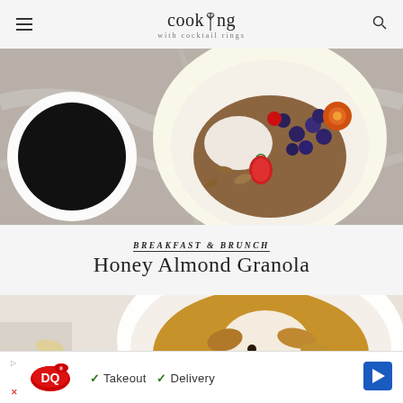cooking with cocktail rings
[Figure (photo): Overhead view of a bowl of granola topped with blueberries, strawberries, and orange flowers, alongside a cup of black coffee on a marble surface.]
BREAKFAST & BRUNCH
Honey Almond Granola
[Figure (photo): Overhead photo of a white bowl filled with honey almond granola with cream, next to ginger root and a linen napkin.]
[Figure (photo): Dairy Queen advertisement banner: Takeout, Delivery]